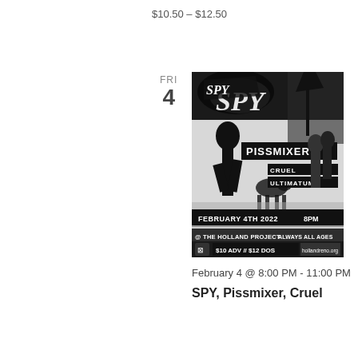$10.50 – $12.50
FRI
4
[Figure (illustration): Black and white punk/hardcore show flyer for SPY, Pissmixer, Cruel Ultimatum at The Holland Project on February 4th 2022, 8PM. Always All Ages. $10 ADV // $12 DOS. hollandreno.org]
February 4 @ 8:00 PM - 11:00 PM
SPY, Pissmixer, Cruel